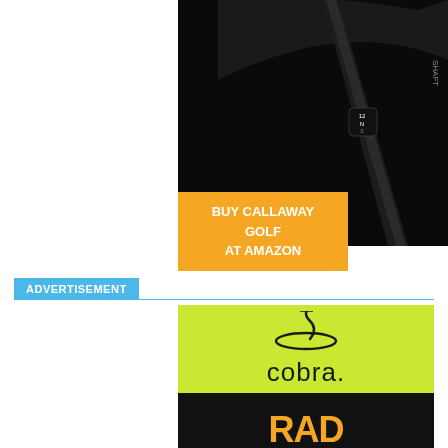[Figure (photo): Close-up photo of a Callaway golf club head and shaft on a black background, showing adjustment mechanism with numbers]
BUY CALLAWAY GOLF AT AMAZON
ADVERTISEMENT
[Figure (logo): Cobra golf brand advertisement. Top half has lime green background with Cobra snake logo and 'cobra.' text. Bottom half has black background with partially visible orange/yellow text.]